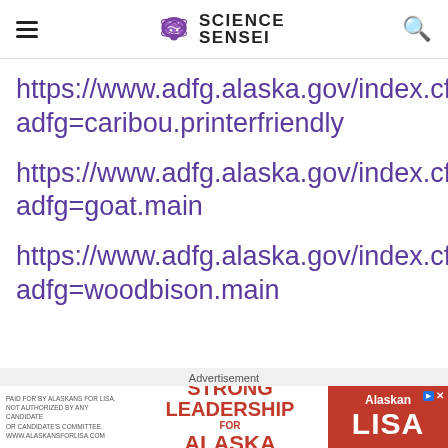Science Sensei
https://www.adfg.alaska.gov/index.cfm?adfg=caribou.printerfriendly
https://www.adfg.alaska.gov/index.cfm?adfg=goat.main
https://www.adfg.alaska.gov/index.cfm?adfg=woodbison.main
Advertisement
[Figure (other): Political advertisement banner: Strong Leadership for Alaska - Lisa, paid for by Alaskans for Lisa]